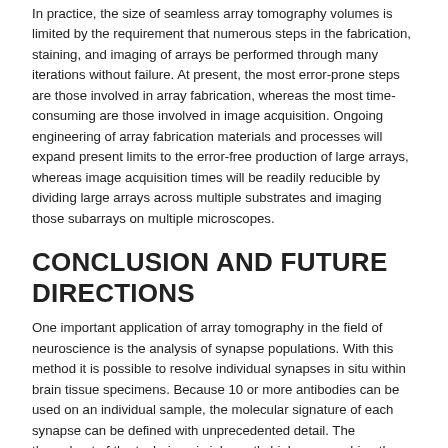In practice, the size of seamless array tomography volumes is limited by the requirement that numerous steps in the fabrication, staining, and imaging of arrays be performed through many iterations without failure. At present, the most error-prone steps are those involved in array fabrication, whereas the most time-consuming are those involved in image acquisition. Ongoing engineering of array fabrication materials and processes will expand present limits to the error-free production of large arrays, whereas image acquisition times will be readily reducible by dividing large arrays across multiple substrates and imaging those subarrays on multiple microscopes.
CONCLUSION AND FUTURE DIRECTIONS
One important application of array tomography in the field of neuroscience is the analysis of synapse populations. With this method it is possible to resolve individual synapses in situ within brain tissue specimens. Because 10 or more antibodies can be used on an individual sample, the molecular signature of each synapse can be defined with unprecedented detail. The throughput of the technique is inherently high, approaching the imaging of one million synapses per hour. Compared with three-dimensional reconstruction at the electron microscopic level, array tomography can image much larger volumes and provide information about the presence of a much larger number of molecules, but cannot presently provide the fine ultrastructural analysis of electron